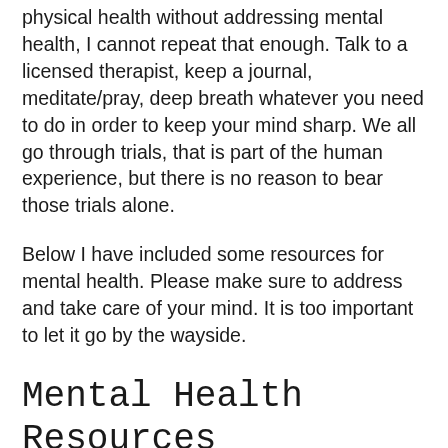physical health without addressing mental health, I cannot repeat that enough. Talk to a licensed therapist, keep a journal, meditate/pray, deep breath whatever you need to do in order to keep your mind sharp. We all go through trials, that is part of the human experience, but there is no reason to bear those trials alone.
Below I have included some resources for mental health. Please make sure to address and take care of your mind. It is too important to let it go by the wayside.
Mental Health Resources
https://www.insightbhc.com/info/mood-anxiety-treatment?st-t=ppc_insight&yt-